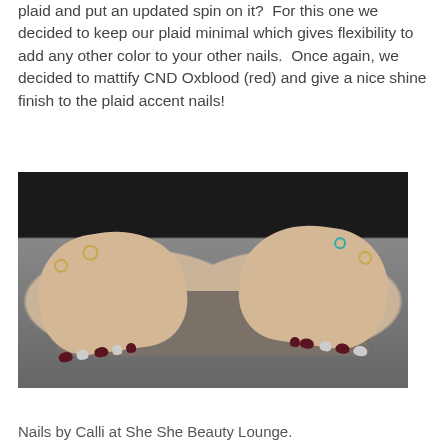plaid and put an updated spin on it?  For this one we decided to keep our plaid minimal which gives flexibility to add any other color to your other nails.  Once again, we decided to mattify CND Oxblood (red) and give a nice shine finish to the plaid accent nails!
[Figure (photo): Two hands with manicured nails — alternating dark maroon (CND Oxblood) and light plaid/grey accent nails — resting on a grey leather clutch wallet. The hands wear multiple gold rings. Background is dark/black.]
Nails by Calli at She She Beauty Lounge.